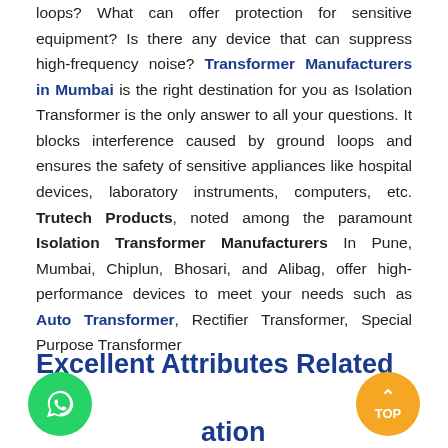loops? What can offer protection for sensitive equipment? Is there any device that can suppress high-frequency noise? Transformer Manufacturers in Mumbai is the right destination for you as Isolation Transformer is the only answer to all your questions. It blocks interference caused by ground loops and ensures the safety of sensitive appliances like hospital devices, laboratory instruments, computers, etc. Trutech Products, noted among the paramount Isolation Transformer Manufacturers In Pune, Mumbai, Chiplun, Bhosari, and Alibag, offer high-performance devices to meet your needs such as Auto Transformer, Rectifier Transformer, Special Purpose Transformer
Excellent Attributes Related To Isolation Transformer Are: